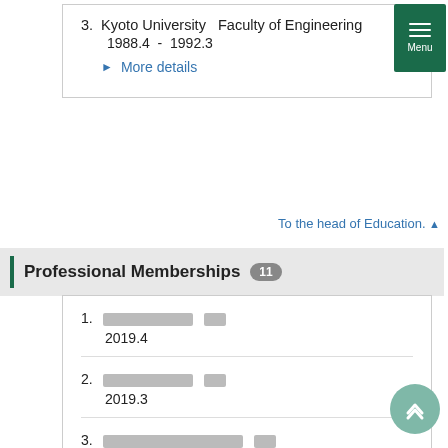3. Kyoto University   Faculty of Engineering
1988.4  -  1992.3
More details
To the head of Education. ▲
Professional Memberships  11
1. [Japanese text]  [abbr]
2019.4
2. [Japanese text]  [abbr]
2019.3
3. [Japanese text]  [abbr]
2014.4  -  2020.3
4. [Japanese text]  [abbr]